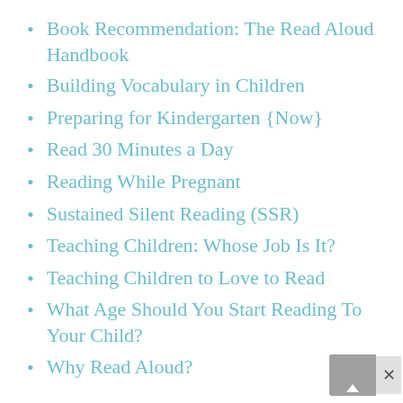Book Recommendation: The Read Aloud Handbook
Building Vocabulary in Children
Preparing for Kindergarten {Now}
Read 30 Minutes a Day
Reading While Pregnant
Sustained Silent Reading (SSR)
Teaching Children: Whose Job Is It?
Teaching Children to Love to Read
What Age Should You Start Reading To Your Child?
Why Read Aloud?